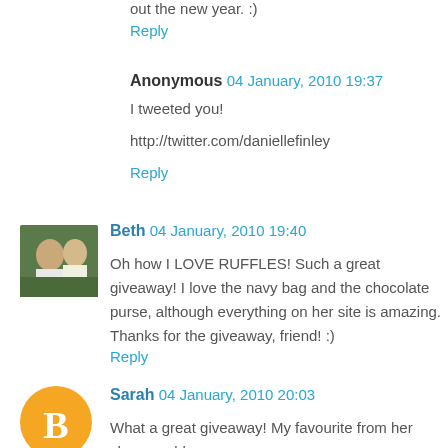out the new year. :)
Reply
Anonymous  04 January, 2010 19:37
I tweeted you!
http://twitter.com/daniellefinley
Reply
[Figure (photo): Avatar photo of Beth - two people outdoors]
Beth  04 January, 2010 19:40
Oh how I LOVE RUFFLES! Such a great giveaway! I love the navy bag and the chocolate purse, although everything on her site is amazing. Thanks for the giveaway, friend! :)
Reply
[Figure (illustration): Orange circle avatar with white B blogger icon]
Sarah  04 January, 2010 20:03
What a great giveaway! My favourite from her shop would